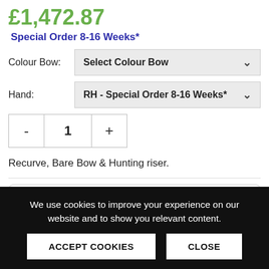£1,472.87
Special Order 8-16 Weeks*
Colour Bow: Select Colour Bow
Hand: RH - Special Order 8-16 Weeks*
1
Recurve, Bare Bow & Hunting riser.
Select Finance with Klarna at checkout and you can:
We use cookies to improve your experience on our website and to show you relevant content.
ACCEPT COOKIES
CLOSE